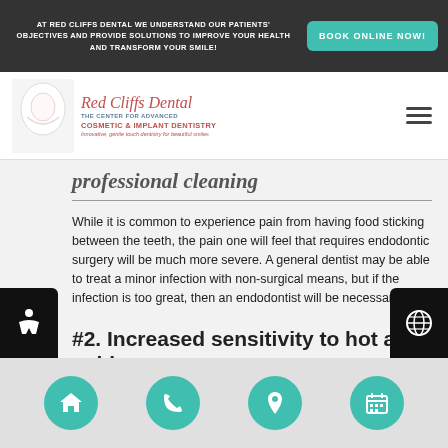AT RED CLIFFS DENTAL WE UNDERSTAND OUR PATIENTS' OBJECTIVES AND PROVIDE SOLUTIONS TO IMPROVE YOUR HEALTH AND TRANSFORM YOUR SMILE! | BOOK ONLINE NOW!
[Figure (logo): Red Cliffs Dental logo with tooth image and text: The Center for Advanced Cosmetic & Implant Dentistry, Innovative, gentle touch dentistry for beautiful smiles]
professional cleaning
While it is common to experience pain from having food sticking between the teeth, the pain one will feel that requires endodontic surgery will be much more severe. A general dentist may be able to treat a minor infection with non-surgical means, but if the infection is too great, then an endodontist will be necessary.
#2. Increased sensitivity to hot and cold
Home | Phone | Location | Calendar navigation icons